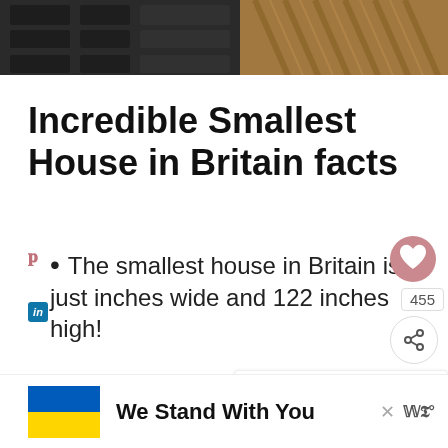[Figure (photo): Partial view of dark machinery/stonework on the left and brown diagonal-striped texture (possibly rope or wood) on the right]
Incredible Smallest House in Britain facts
The smallest house in Britain is just [number cut off] inches wide and 122 inches high!
[Figure (infographic): What's Next panel showing thumbnail of Henrhyd Falls with label 'WHAT'S NEXT → Henrhyd Falls - How To Vis...']
[Figure (infographic): Advertisement banner with Ukrainian flag and text 'We Stand With You']